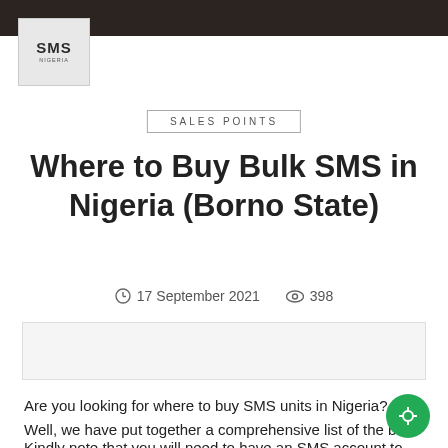SMS Nigeria
SALES POINTS
Where to Buy Bulk SMS in Nigeria (Borno State)
17 September 2021   398
[Figure (other): Header image placeholder for article]
Are you looking for where to buy SMS units in Nigeria? Well, we have put together a comprehensive list of the bulk SMS sales point in Borno state below.
Kindly note that you will need to have an SMS account to use